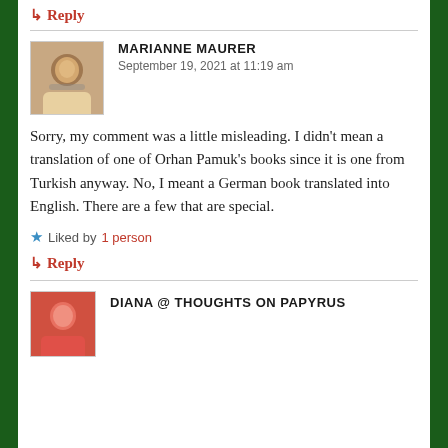↳ Reply
MARIANNE MAURER
September 19, 2021 at 11:19 am
Sorry, my comment was a little misleading. I didn't mean a translation of one of Orhan Pamuk's books since it is one from Turkish anyway. No, I meant a German book translated into English. There are a few that are special.
Liked by 1 person
↳ Reply
DIANA @ THOUGHTS ON PAPYRUS